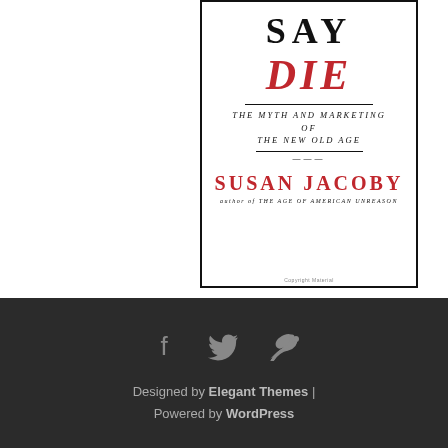[Figure (illustration): Book cover of 'Never Say Die: The Myth and Marketing of The New Old Age' by Susan Jacoby, author of The Age of American Unreason. Title 'SAY' in black serif bold, 'DIE' in red italic bold, subtitle in small italic black text, author name 'SUSAN JACOBY' in large red serif letters.]
Designed by Elegant Themes | Powered by WordPress